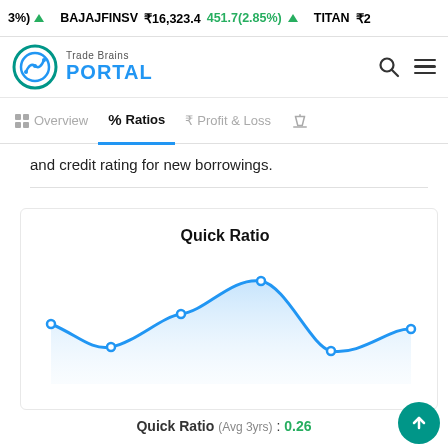3%) ▲  BAJAJFINSV ₹16,323.4  451.7(2.85%) ▲  TITAN ₹2
[Figure (logo): Trade Brains Portal logo with circular chart icon and blue PORTAL text]
Overview  %  Ratios  ₹  Profit & Loss  ⚖
and credit rating for new borrowings.
[Figure (line-chart): Smooth area line chart showing Quick Ratio trend with blue line and light blue fill, 5-6 data points]
Quick Ratio (Avg 3yrs) : 0.26